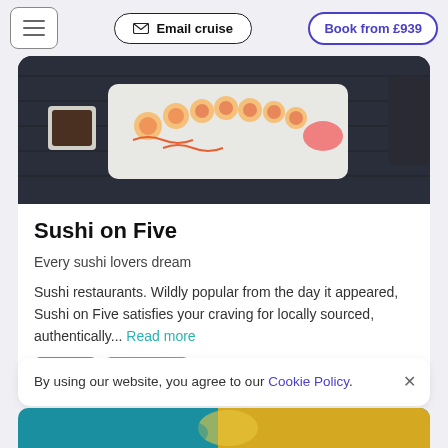Email cruise | Book from £939
[Figure (photo): Sushi platter on a dark wooden table with chopsticks, soy sauce bowl, and dark mug]
Sushi on Five
Every sushi lovers dream
Sushi restaurants. Wildly popular from the day it appeared, Sushi on Five satisfies your craving for locally sourced, authentically... Read more
Cover
Japanese
By using our website, you agree to our Cookie Policy.